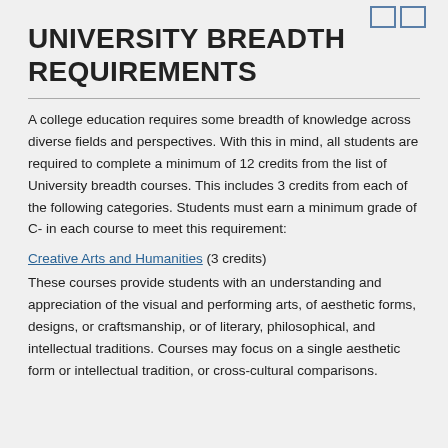UNIVERSITY BREADTH REQUIREMENTS
A college education requires some breadth of knowledge across diverse fields and perspectives. With this in mind, all students are required to complete a minimum of 12 credits from the list of University breadth courses. This includes 3 credits from each of the following categories. Students must earn a minimum grade of C- in each course to meet this requirement:
Creative Arts and Humanities (3 credits)
These courses provide students with an understanding and appreciation of the visual and performing arts, of aesthetic forms, designs, or craftsmanship, or of literary, philosophical, and intellectual traditions. Courses may focus on a single aesthetic form or intellectual tradition, or cross-cultural comparisons.